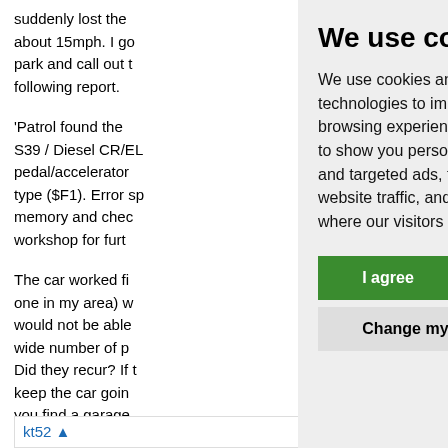suddenly lost the about 15mph. I go park and call out the following report.
'Patrol found the S39 / Diesel CR/ED pedal/accelerator type ($F1). Error sp memory and chec workshop for furt
The car worked fi one in my area) w would not be able wide number of p Did they recur? If t keep the car goin, you find a garage explanation as to do?
We use cookies
We use cookies and other tracking technologies to improve your browsing experience on our website, to show you personalized content and targeted ads, to analyze our website traffic, and to understand where our visitors are coming from.
I agree
Change my preferences